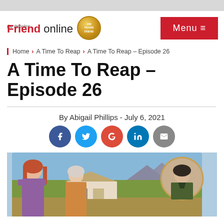the People's Friend online [150 Years badge] | Menu ☰
Home > A Time To Reap > A Time To Reap – Episode 26
A Time To Reap – Episode 26
By Abigail Phillips - July 6, 2021
[Figure (other): Social sharing icons: Facebook, Twitter, Google+, LinkedIn, Email]
[Figure (illustration): Illustrated scene with two women and a man in a circle inset, with a rural Scottish farmhouse background landscape]